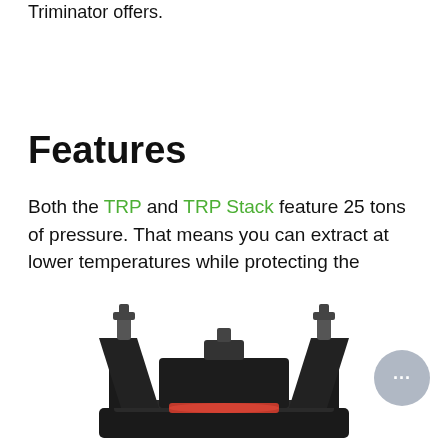Triminator offers.
Features
Both the TRP and TRP Stack feature 25 tons of pressure. That means you can extract at lower temperatures while protecting the terpenes from burning.
[Figure (photo): A black industrial rosin press machine (TRP or TRP Stack) photographed against a white background, showing the mechanical pressing mechanism with hex bolts and a red heated plate visible.]